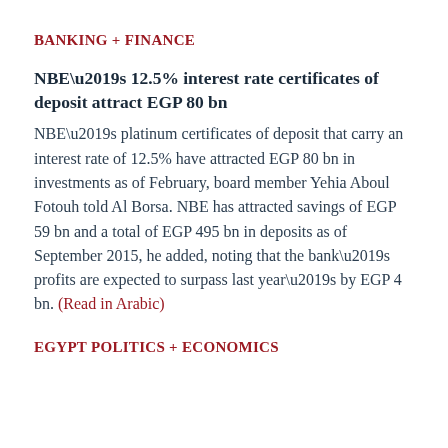BANKING + FINANCE
NBE’s 12.5% interest rate certificates of deposit attract EGP 80 bn
NBE’s platinum certificates of deposit that carry an interest rate of 12.5% have attracted EGP 80 bn in investments as of February, board member Yehia Aboul Fotouh told Al Borsa. NBE has attracted savings of EGP 59 bn and a total of EGP 495 bn in deposits as of September 2015, he added, noting that the bank’s profits are expected to surpass last year’s by EGP 4 bn. (Read in Arabic)
EGYPT POLITICS + ECONOMICS